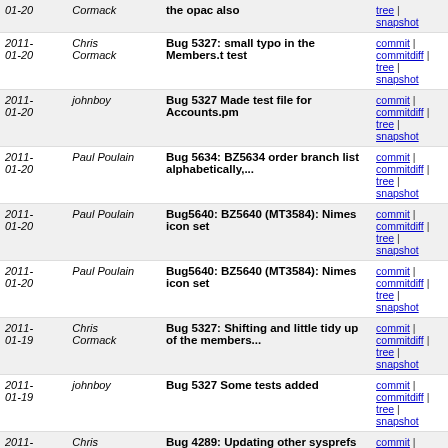| Date | Author | Message | Links |
| --- | --- | --- | --- |
| 2011-01-20 | Cormack | the opac also | tree | snapshot |
| 2011-01-20 | Chris Cormack | Bug 5327: small typo in the Members.t test | commit | commitdiff | tree | snapshot |
| 2011-01-20 | johnboy | Bug 5327 Made test file for Accounts.pm | commit | commitdiff | tree | snapshot |
| 2011-01-20 | Paul Poulain | Bug 5634: BZ5634 order branch list alphabetically,... | commit | commitdiff | tree | snapshot |
| 2011-01-20 | Paul Poulain | Bug5640: BZ5640 (MT3584): Nimes icon set | commit | commitdiff | tree | snapshot |
| 2011-01-20 | Paul Poulain | Bug5640: BZ5640 (MT3584): Nimes icon set | commit | commitdiff | tree | snapshot |
| 2011-01-19 | Chris Cormack | Bug 5327: Shifting and little tidy up of the members... | commit | commitdiff | tree | snapshot |
| 2011-01-19 | johnboy | Bug 5327 Some tests added | commit | commitdiff | tree | snapshot |
| 2011-01-19 | Chris Cormack | Bug 4289: Updating other sysprefs until we change the... | commit | commitdiff | tree | snapshot |
| 2011-01-19 | Chris Cormack | New icon set, renaming and making files in the intranet too | commit | commitdiff | tree | snapshot |
| 2011-01-19 | claudia | New icon set for kids, has ben rezided to 48 by 48px | commit | commitdiff | tree | snapshot |
| 2011-01-19 | Chris Cormack | Bug 4289: Bumping version number up | commit | commitdiff | tree | snapshot |
| 2011-01-19 | Frédéric Demians | Bug 4289 Followup: Add syspref default value and in... | commit | commitdiff | tree | snapshot |
| 2011-01-19 | Mason James | Bug 4289: 'OpacPublic' feature | commit | commitdiff | tree | snapshot |